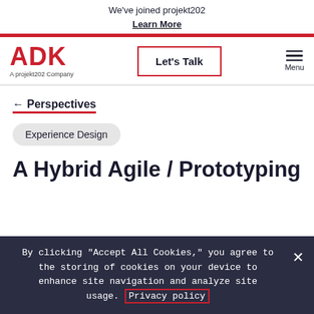We've joined projekt202
Learn More
[Figure (logo): ADK logo with tagline 'A projekt202 Company']
Let's Talk
Menu
← Perspectives
Experience Design
A Hybrid Agile / Prototyping
By clicking "Accept All Cookies," you agree to the storing of cookies on your device to enhance site navigation and analyze site usage. Privacy policy